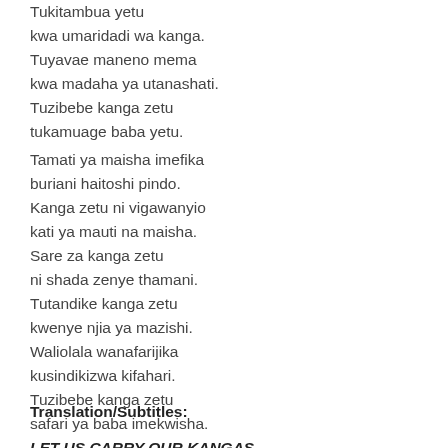Tukitambua yetu
kwa umaridadi wa kanga.
Tuyavae maneno mema
kwa madaha ya utanashati.
Tuzibebe kanga zetu
tukamuage baba yetu.
Tamati ya maisha imefika
buriani haitoshi pindo.
Kanga zetu ni vigawanyio
kati ya mauti na maisha.
Sare za kanga zetu
ni shada zenye thamani.
Tutandike kanga zetu
kwenye njia ya mazishi.
Waliolala wanafarijika
kusindikizwa kifahari.
Tuzibebe kanga zetu
safari ya baba imekwisha.
Translation/Subtitles:
LET US CARRY OUR KANGAS